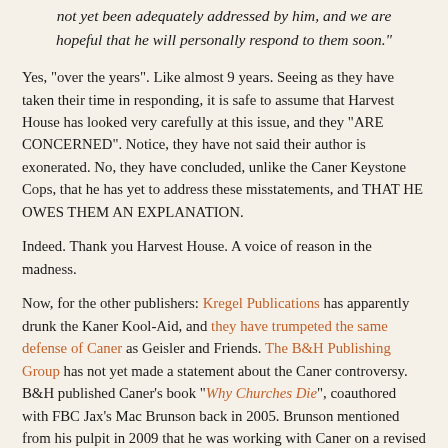not yet been adequately addressed by him, and we are hopeful that he will personally respond to them soon."
Yes, "over the years". Like almost 9 years. Seeing as they have taken their time in responding, it is safe to assume that Harvest House has looked very carefully at this issue, and they "ARE CONCERNED". Notice, they have not said their author is exonerated. No, they have concluded, unlike the Caner Keystone Cops, that he has yet to address these misstatements, and THAT HE OWES THEM AN EXPLANATION.
Indeed. Thank you Harvest House. A voice of reason in the madness.
Now, for the other publishers: Kregel Publications has apparently drunk the Kaner Kool-Aid, and they have trumpeted the same defense of Caner as Geisler and Friends. The B&H Publishing Group has not yet made a statement about the Caner controversy. B&H published Caner's book "Why Churches Die", coauthored with FBC Jax's Mac Brunson back in 2005. Brunson mentioned from his pulpit in 2009 that he was working with Caner on a revised version...this may be delayed, as the authors perhaps are